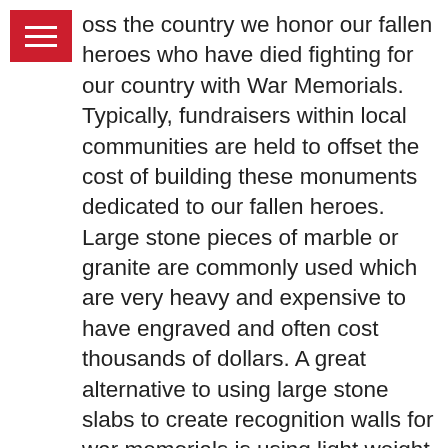[Figure (other): Red hamburger menu icon (three horizontal white lines on red background) in top-left corner]
oss the country we honor our fallen heroes who have died fighting for our country with War Memorials. Typically, fundraisers within local communities are held to offset the cost of building these monuments dedicated to our fallen heroes. Large stone pieces of marble or granite are commonly used which are very heavy and expensive to have engraved and often cost thousands of dollars. A great alternative to using large stone slabs to create recognition walls for war memorials is using light weight engraved tiles such as black granite, quarry or porcelain tiles. These are easy to install on a memorial wall and are a fraction of the price.
Polar Engraving specializes in personalized engraved tiles and we offer a variety of sizes